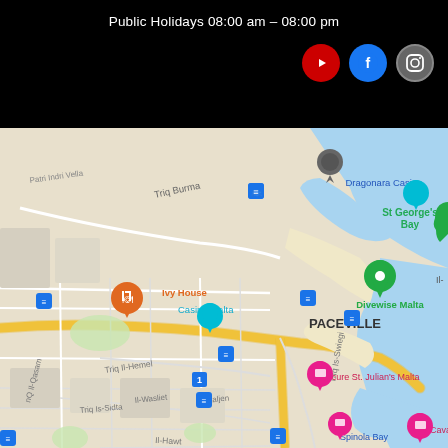Public Holidays 08:00 am – 08:00 pm
[Figure (illustration): Social media icon buttons: YouTube (red circle with play icon), Facebook (blue circle with f icon), Instagram (gray circle with camera icon)]
[Figure (map): Google Maps view of St Julian's Malta area showing Paceville, St George's Bay, Dragonara Casino, Ivy House Casino Malta, Divewise Malta, Mercure St. Julian's Malta, Cavalier hotel, Spinola Bay, with street labels Triq Burma, Triq Il-Hemel, Triq Is-Sidra, Triq Is-Swiegi, Il-Hawt, Il-Wasliet, Ktaljen, and bus stop markers]